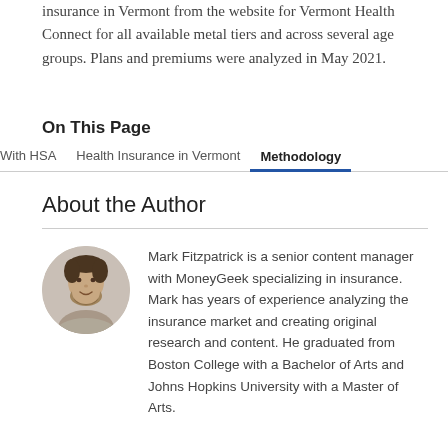insurance in Vermont from the website for Vermont Health Connect for all available metal tiers and across several age groups. Plans and premiums were analyzed in May 2021.
On This Page
With HSA   Health Insurance in Vermont   Methodology
About the Author
[Figure (photo): Headshot of Mark Fitzpatrick, a man with a beard wearing a light gray hoodie]
Mark Fitzpatrick is a senior content manager with MoneyGeek specializing in insurance. Mark has years of experience analyzing the insurance market and creating original research and content. He graduated from Boston College with a Bachelor of Arts and Johns Hopkins University with a Master of Arts.